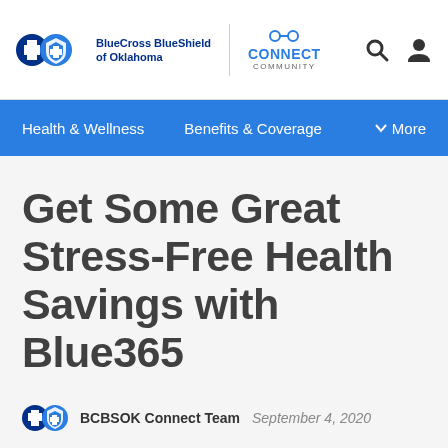BlueCross BlueShield of Oklahoma | CONNECT COMMUNITY
Health & Wellness   Benefits & Coverage   More
Get Some Great Stress-Free Health Savings with Blue365
BCBSOK Connect Team   September 4, 2020
[Figure (photo): Photo of a person, cropped at bottom of page]